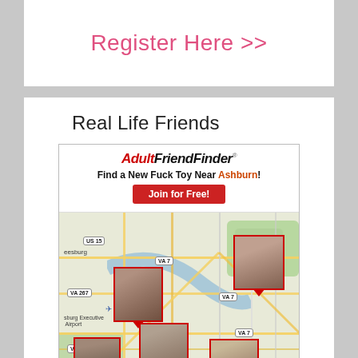Register Here >>
Real Life Friends
[Figure (infographic): AdultFriendFinder advertisement banner with map showing Ashburn, VA area with profile photo pins on a road map. Header text: AdultFriendFinder - Find a New Fuck Toy Near Ashburn! Join for Free! button. Map shows US 15, VA 7, VA 267, VA 28 road signs and Leesburg area.]